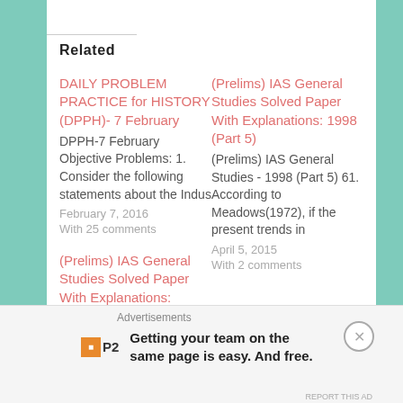Change Language
Related
DAILY PROBLEM PRACTICE for HISTORY (DPPH)- 7 February
DPPH-7 February Objective Problems:
1. Consider the following statements about the Indus
February 7, 2016
With 25 comments
(Prelims) IAS General Studies Solved Paper With Explanations: 1998 (Part 5)
(Prelims) IAS General Studies - 1998 (Part 5)
61. According to Meadows(1972), if the present trends in
April 5, 2015
With 2 comments
(Prelims) IAS General Studies Solved Paper With Explanations:
Advertisements
Getting your team on the same page is easy. And free.